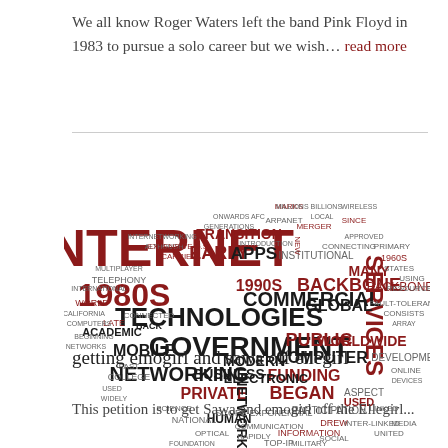We all know Roger Waters left the band Pink Floyd in 1983 to pursue a solo career but we wish… read more
[Figure (infographic): Word cloud about the Internet, featuring large words like INTERNET, 1980s, TECHNOLOGIES, GOVERNMENT, NETWORKING, SERVICES, COMMERCIAL, GLOBAL, BACKBONE, NETWORK, MOBILE, BUSINESS, PRIVATE, FUNDING, COMPUTER, MODERN, ELECTRONIC, HUMAN, APPS, EARLY and many smaller words in dark red/maroon and black colors.]
getting emogirl and sawa off ellegirl
This petition is to get Sawa and emogirl off the Ellegirl...